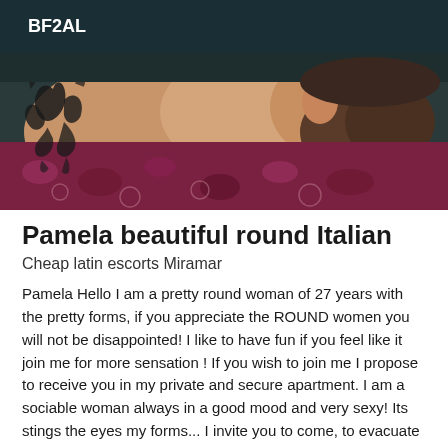BF2AL
[Figure (photo): Close-up photo of a person with tattoos lying on a floral patterned fabric, showing upper body and beard]
Pamela beautiful round Italian
Cheap latin escorts Miramar
Pamela Hello I am a pretty round woman of 27 years with the pretty forms, if you appreciate the ROUND women you will not be disappointed! I like to have fun if you feel like it join me for more sensation ! If you wish to join me I propose to receive you in my private and secure apartment. I am a sociable woman always in a good mood and very sexy! Its stings the eyes my forms... I invite you to come, to evacuate the daily stress, I prefer the sweetness, and the good understanding ... kissss .... Get out of your train and give